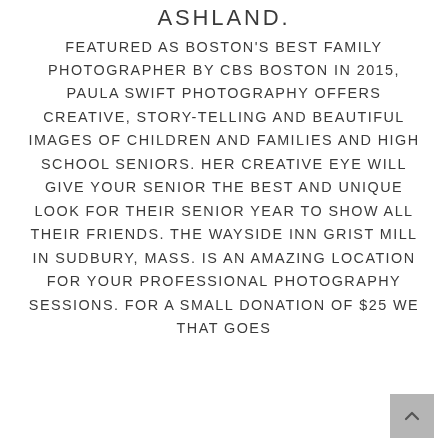ASHLAND.
FEATURED AS BOSTON'S BEST FAMILY PHOTOGRAPHER BY CBS BOSTON IN 2015, PAULA SWIFT PHOTOGRAPHY OFFERS CREATIVE, STORY-TELLING AND BEAUTIFUL IMAGES OF CHILDREN AND FAMILIES AND HIGH SCHOOL SENIORS. HER CREATIVE EYE WILL GIVE YOUR SENIOR THE BEST AND UNIQUE LOOK FOR THEIR SENIOR YEAR TO SHOW ALL THEIR FRIENDS. THE WAYSIDE INN GRIST MILL IN SUDBURY, MASS. IS AN AMAZING LOCATION FOR YOUR PROFESSIONAL PHOTOGRAPHY SESSIONS. FOR A SMALL DONATION OF $25 WE THAT GOES